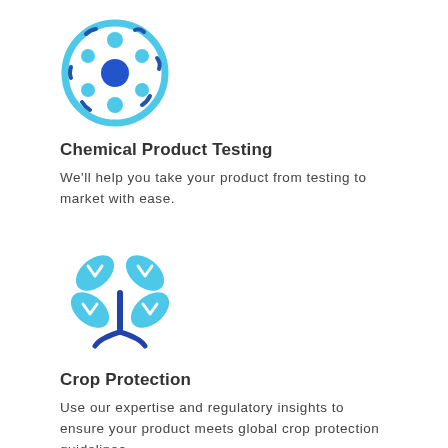[Figure (illustration): Circular icon with light blue border containing blue circular molecules/particles — representing chemical/biological testing]
Chemical Product Testing
We'll help you take your product from testing to market with ease.
[Figure (illustration): Blue plant/crop icon with four leaf shapes and a stem with roots — representing crop protection]
Crop Protection
Use our expertise and regulatory insights to ensure your product meets global crop protection guidelines.